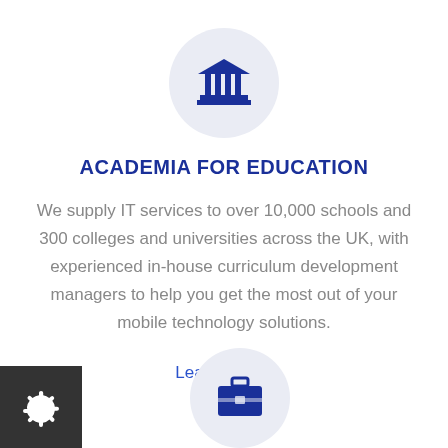[Figure (illustration): Blue university/institution building icon centered in a light grey circle]
ACADEMIA FOR EDUCATION
We supply IT services to over 10,000 schools and 300 colleges and universities across the UK, with experienced in-house curriculum development managers to help you get the most out of your mobile technology solutions.
Learn more ›
[Figure (illustration): Gear/settings icon in white on dark grey square background, bottom left]
[Figure (illustration): Blue briefcase icon in light grey circle, bottom center]